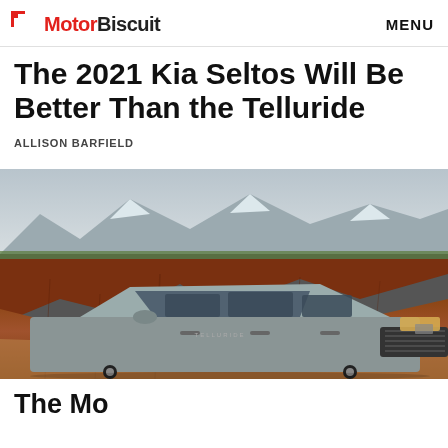MotorBiscuit   MENU
The 2021 Kia Seltos Will Be Better Than the Telluride
ALLISON BARFIELD
[Figure (photo): A Kia Telluride SUV parked in front of dramatic red rock canyon cliffs with snow-capped mountains in the background under an overcast sky.]
The Mo...